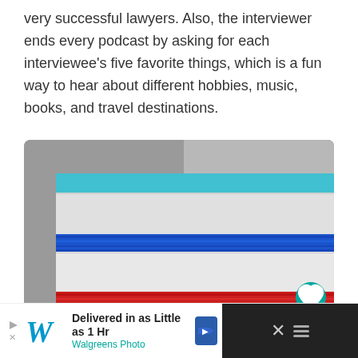very successful lawyers. Also, the interviewer ends every podcast by asking for each interviewee’s five favorite things, which is a fun way to hear about different hobbies, music, books, and travel destinations.
[Figure (photo): Close-up photograph of a stack of books with colorful covers: teal/cyan on top, blue in the middle, and red at the bottom, on a grey background.]
Delivered in as Little as 1 Hr
Walgreens Photo